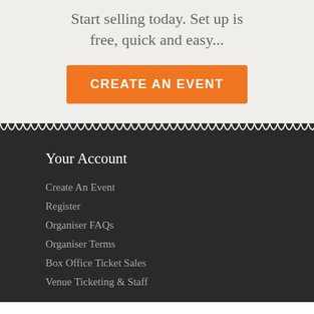Start selling today. Set up is free, quick and easy...
[Figure (other): Orange 'CREATE AN EVENT' call-to-action button]
Your Account
Create An Event
Register
Organiser FAQs
Organiser Terms
Box Office Ticket Sales
Venue Ticketing & Staff